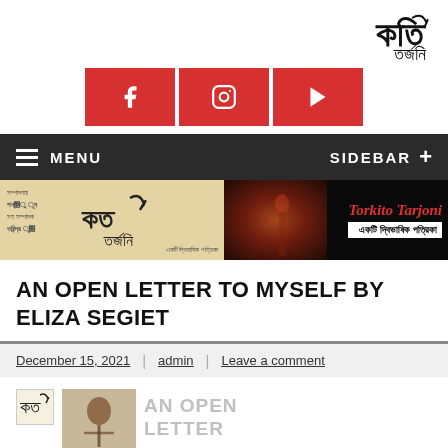[Figure (logo): Bengali script logo mark in top right corner]
[Figure (infographic): Three red social media icon buttons: Facebook, Instagram, YouTube]
MENU   SIDEBAR +
[Figure (infographic): Banner strip: left half shows beige book cover with Bengali text and logo; right half shows dark background with red silhouette image and text 'Torkito Tarjoni' and Bengali subtitle]
AN OPEN LETTER TO MYSELF BY ELIZA SEGIET
December 15, 2021 | admin | Leave a comment
[Figure (illustration): Small preview logos and partial image with text 'AN OPEN LETTER']